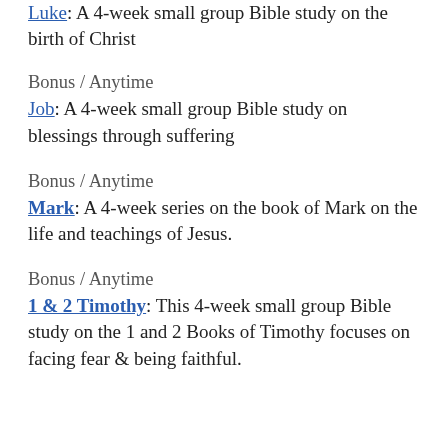Luke: A 4-week small group Bible study on the birth of Christ
Bonus / Anytime
Job: A 4-week small group Bible study on blessings through suffering
Bonus / Anytime
Mark: A 4-week series on the book of Mark on the life and teachings of Jesus.
Bonus / Anytime
1 & 2 Timothy: This 4-week small group Bible study on the 1 and 2 Books of Timothy focuses on facing fear & being faithful.